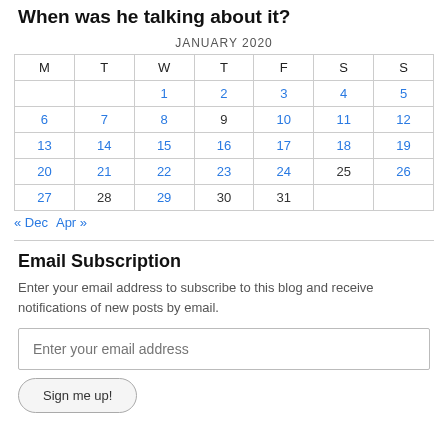When was he talking about it?
| M | T | W | T | F | S | S |
| --- | --- | --- | --- | --- | --- | --- |
|  |  | 1 | 2 | 3 | 4 | 5 |
| 6 | 7 | 8 | 9 | 10 | 11 | 12 |
| 13 | 14 | 15 | 16 | 17 | 18 | 19 |
| 20 | 21 | 22 | 23 | 24 | 25 | 26 |
| 27 | 28 | 29 | 30 | 31 |  |  |
« Dec   Apr »
Email Subscription
Enter your email address to subscribe to this blog and receive notifications of new posts by email.
Enter your email address
Sign me up!